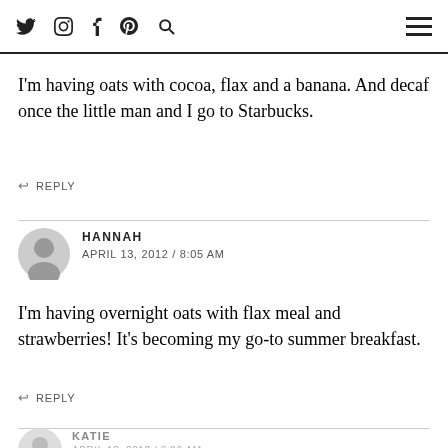Navigation icons: twitter, instagram, facebook, pinterest, search, hamburger menu
This looks fabulous and very tasty! Your dad did a great job helping with the styling too 🙂
I'm having oats with cocoa, flax and a banana. And decaf once the little man and I go to Starbucks.
REPLY
HANNAH
APRIL 13, 2012 / 8:05 AM
I'm having overnight oats with flax meal and strawberries! It's becoming my go-to summer breakfast.
REPLY
KATIE
APRIL 13, 2012 / 8:06 AM